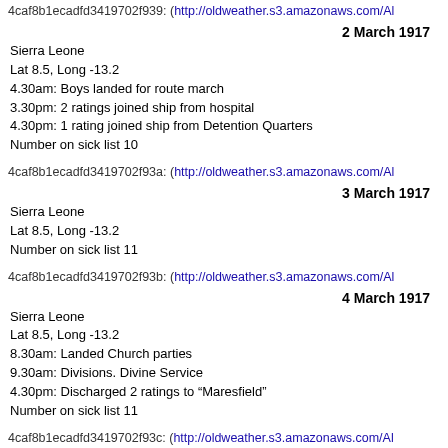4caf8b1ecadfd3419702f939: (http://oldweather.s3.amazonaws.com/Al
2 March 1917
Sierra Leone
Lat 8.5, Long -13.2
4.30am: Boys landed for route march
3.30pm: 2 ratings joined ship from hospital
4.30pm: 1 rating joined ship from Detention Quarters
Number on sick list 10
4caf8b1ecadfd3419702f93a: (http://oldweather.s3.amazonaws.com/Al
3 March 1917
Sierra Leone
Lat 8.5, Long -13.2
Number on sick list 11
4caf8b1ecadfd3419702f93b: (http://oldweather.s3.amazonaws.com/Al
4 March 1917
Sierra Leone
Lat 8.5, Long -13.2
8.30am: Landed Church parties
9.30am: Divisions. Divine Service
4.30pm: Discharged 2 ratings to “Maresfield”
Number on sick list 11
4caf8b1ecadfd3419702f93c: (http://oldweather.s3.amazonaws.com/Al
5 March 1917